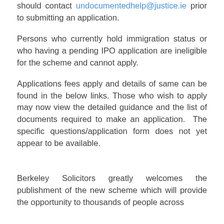should contact undocumentedhelp@justice.ie prior to submitting an application.
Persons who currently hold immigration status or who having a pending IPO application are ineligible for the scheme and cannot apply.
Applications fees apply and details of same can be found in the below links. Those who wish to apply may now view the detailed guidance and the list of documents required to make an application.  The specific questions/application form does not yet appear to be available.
Berkeley Solicitors greatly welcomes the publishment of the new scheme which will provide the opportunity to thousands of people across